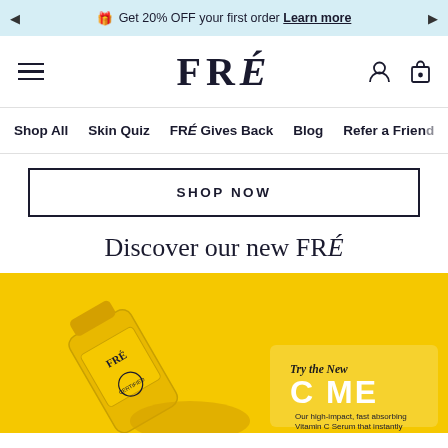🎁 Get 20% OFF your first order Learn more
[Figure (logo): FRÉ brand logo in serif font]
Shop All  Skin Quiz  FRÉ Gives Back  Blog  Refer a Friend
SHOP NOW
Discover our new FRÉ
[Figure (photo): Yellow background product photo of FRÉ Vitamin C serum bottle tipped over with text 'Try the New C ME - Our high-impact, fast absorbing Vitamin C Serum that instantly brightens skin.']